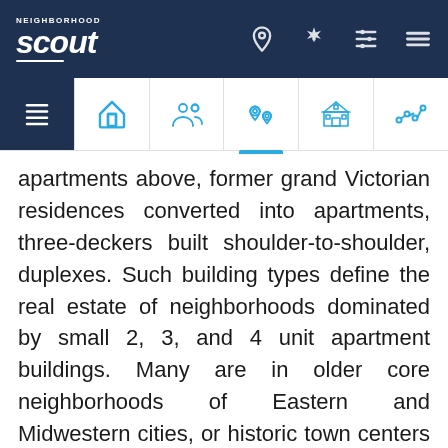[Figure (screenshot): NeighborhoodScout website header with logo and navigation icons]
apartments above, former grand Victorian residences converted into apartments, three-deckers built shoulder-to-shoulder, duplexes. Such building types define the real estate of neighborhoods dominated by small 2, 3, and 4 unit apartment buildings. Many are in older core neighborhoods of Eastern and Midwestern cities, or historic town centers in their hinterlands. If you wax romantic about the look and feel of such neighborhoods, with fresh pizza, falafel and an independent florist at the corner, then you might find the Newburgh Southwest neighborhood worth a close look. This neighborhood is an absolutely